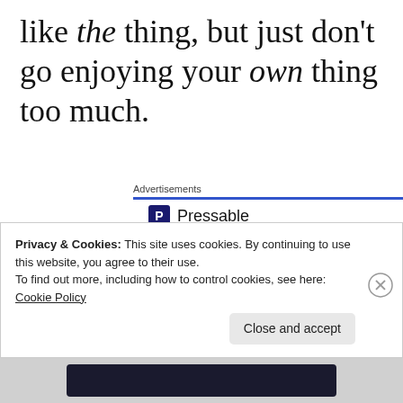like the thing, but just don't go enjoying your own thing too much.
Advertisements
[Figure (logo): Pressable logo with blue P icon and dotted line below]
[Figure (screenshot): Ad headline: The Platform Where WordPress Works Best]
Privacy & Cookies: This site uses cookies. By continuing to use this website, you agree to their use.
To find out more, including how to control cookies, see here: Cookie Policy
Close and accept